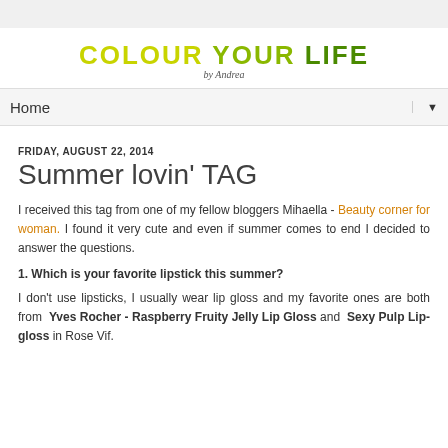COLOUR YOUR LIFE by Andrea
Home
FRIDAY, AUGUST 22, 2014
Summer lovin' TAG
I received this tag from one of my fellow bloggers Mihaella - Beauty corner for woman. I found it very cute and even if summer comes to end I decided to answer the questions.
1. Which is your favorite lipstick this summer?
I don't use lipsticks, I usually wear lip gloss and my favorite ones are both from  Yves Rocher - Raspberry Fruity Jelly Lip Gloss and  Sexy Pulp Lip-gloss in Rose Vif.